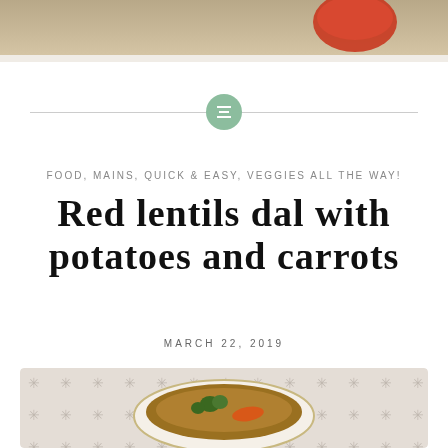[Figure (photo): Top portion of a food photo showing a plate/dish with red tomato or pepper on a wooden/cream surface]
[Figure (illustration): Decorative horizontal divider with a green circle containing a menu/table icon]
FOOD, MAINS, QUICK & EASY, VEGGIES ALL THE WAY!
Red lentils dal with potatoes and carrots
MARCH 22, 2019
[Figure (photo): A bowl of red lentil dal with potatoes and carrots, garnished with fresh herbs, placed on a decorative cloth with star-like patterns]